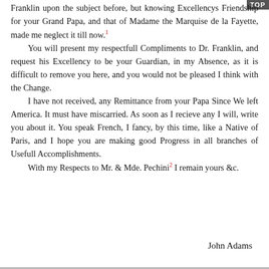Franklin upon the subject before, but knowing Excellencys Friendship for your Grand Papa, and that of Madame the Marquise de la Fayette, made me neglect it till now.[1] You will present my respectfull Compliments to Dr. Franklin, and request his Excellency to be your Guardian, in my Absence, as it is difficult to remove you here, and you would not be pleased I think with the Change. I have not received, any Remittance from your Papa Since We left America. It must have miscarried. As soon as I recieve any I will, write you about it. You speak French, I fancy, by this time, like a Native of Paris, and I hope you are making good Progress in all branches of Usefull Accomplishments. With my Respects to Mr. & Mde. Pechini[2] I remain yours &c.
John Adams